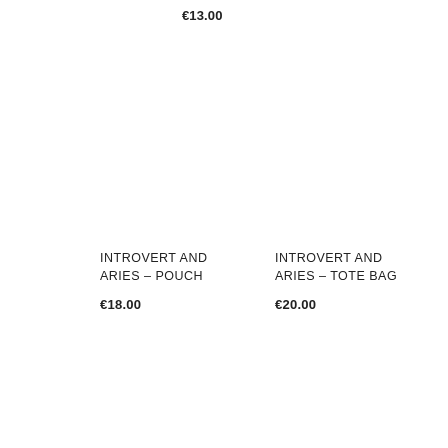€13.00
INTROVERT AND ARIES – POUCH
€18.00
INTROVERT AND ARIES – TOTE BAG
€20.00